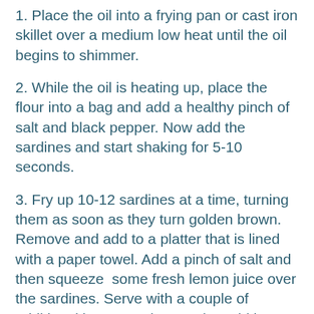1. Place the oil into a frying pan or cast iron skillet over a medium low heat until the oil begins to shimmer.
2. While the oil is heating up, place the flour into a bag and add a healthy pinch of salt and black pepper. Now add the sardines and start shaking for 5-10 seconds.
3. Fry up 10-12 sardines at a time, turning them as soon as they turn golden brown. Remove and add to a platter that is lined with a paper towel. Add a pinch of salt and then squeeze  some fresh lemon juice over the sardines. Serve with a couple of additional lemon wedges and a cold beer. Enjoy!!